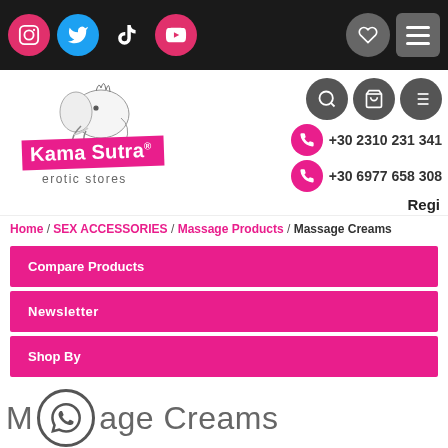Kama Sutra erotic stores — top navigation bar with social icons (Instagram, Twitter, TikTok, YouTube), wishlist and menu buttons
[Figure (logo): Kama Sutra erotic stores logo with elephant illustration and pink banner]
+30 2310 231 341
+30 6977 658 308
Regi
Home / SEX ACCESSORIES / Massage Products / Massage Creams
Compare Products
Newsletter
Shop By
Massage Creams